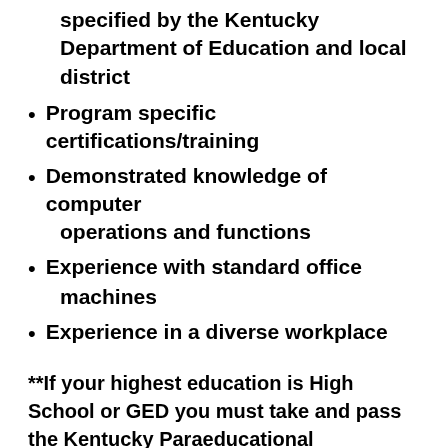specified by the Kentucky Department of Education and local district
Program specific certifications/training
Demonstrated knowledge of computer operations and functions
Experience with standard office machines
Experience in a diverse workplace
**If your highest education is High School or GED you must take and pass the Kentucky Paraeducational Assessment Exam. The exam is free and you have three chances to obtain a passing score. For assistance with studying for this assessment, click KPA Study Guide.  To schedule to take the KPA test with our